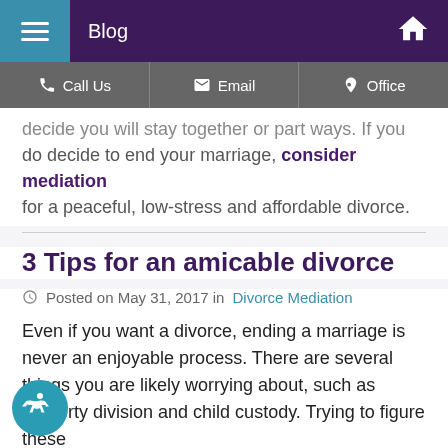Blog
Call Us   Email   Office
...decide you will stay together or part ways. If you do decide to end your marriage, consider mediation for a peaceful, low-stress and affordable divorce.
3 Tips for an amicable divorce
Posted on May 31, 2017 in Divorce Mediation
Even if you want a divorce, ending a marriage is never an enjoyable process. There are several things you are likely worrying about, such as property division and child custody. Trying to figure these